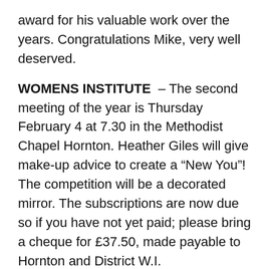award for his valuable work over the years. Congratulations Mike, very well deserved.
WOMENS INSTITUTE – The second meeting of the year is Thursday February 4 at 7.30 in the Methodist Chapel Hornton. Heather Giles will give make-up advice to create a “New You”! The competition will be a decorated mirror. The subscriptions are now due so if you have not yet paid; please bring a cheque for £37.50, made payable to Hornton and District W.I.
BIN DAY – this week, its blue and brown bin day. Make sure your bins are out by 7 to ensure collection.
ROAD CLOSURE – The Temporary Road Closure and “no waiting” restriction in Wroxton Lane is in place. Scheduled from February 1 for 5 days the closure is due to be lifted